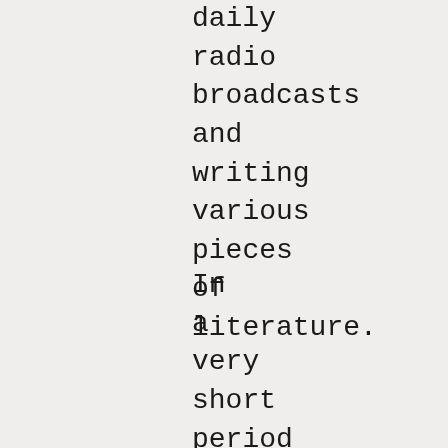daily radio broadcasts and writing various pieces of literature.
In a very short period of time it became obvious